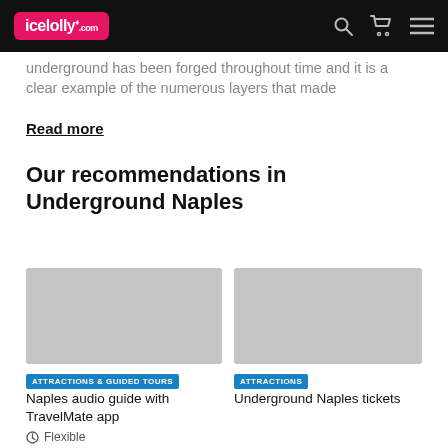icelolly.com
underground has been forged throughout time and it is a clear example of the numerous layers that made
Read more
Our recommendations in Underground Naples
[Figure (photo): Grey placeholder image for Naples audio guide card]
ATTRACTIONS & GUIDED TOURS
Naples audio guide with TravelMate app
Flexible
[Figure (photo): Grey placeholder image for Underground Naples tickets card]
ATTRACTIONS
Underground Naples tickets